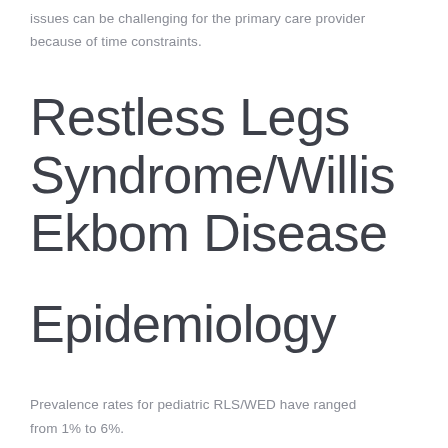issues can be challenging for the primary care provider because of time constraints.
Restless Legs Syndrome/Willis Ekbom Disease
Epidemiology
Prevalence rates for pediatric RLS/WED have ranged from 1% to 6%.